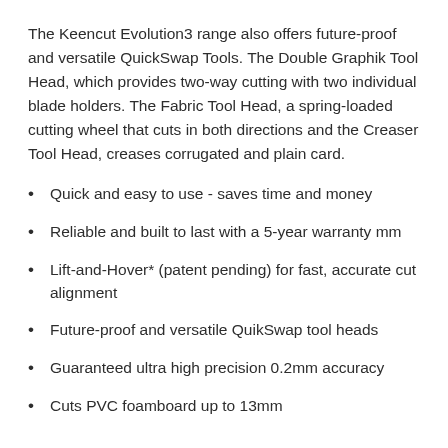The Keencut Evolution3 range also offers future-proof and versatile QuickSwap Tools. The Double Graphik Tool Head, which provides two-way cutting with two individual blade holders. The Fabric Tool Head, a spring-loaded cutting wheel that cuts in both directions and the Creaser Tool Head, creases corrugated and plain card.
Quick and easy to use - saves time and money
Reliable and built to last with a 5-year warranty mm
Lift-and-Hover* (patent pending) for fast, accurate cut alignment
Future-proof and versatile QuikSwap tool heads
Guaranteed ultra high precision 0.2mm accuracy
Cuts PVC foamboard up to 13mm